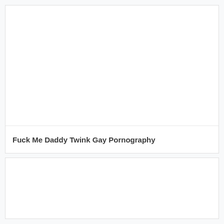[Figure (screenshot): Video thumbnail placeholder area with white background]
15:57
Fuck Me Daddy Twink Gay Pornography